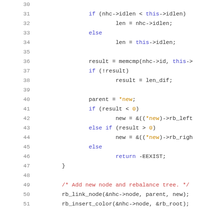[Figure (screenshot): Source code listing showing lines 30-51 of a C program involving an rb-tree (red-black tree) insertion function. Lines include conditional checks on idlen, memcmp result, parent/new pointer traversal, and rb_link_node/rb_insert_color calls.]